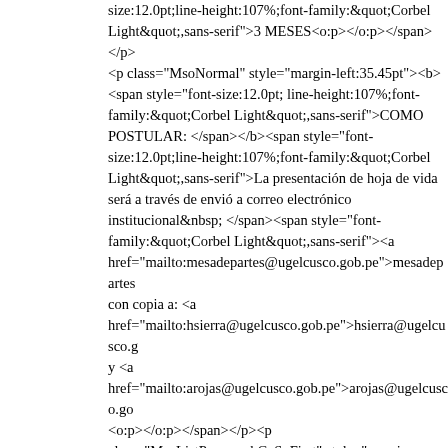size:12.0pt;line-height:107%;font-family:&quot;Corbel Light&quot;,sans-serif">3 MESES<o:p></o:p></span></p> <p class="MsoNormal" style="margin-left:35.45pt"><b> <span style="font-size:12.0pt; line-height:107%;font-family:&quot;Corbel Light&quot;,sans-serif">COMO POSTULAR: </span></b><span style="font-size:12.0pt;line-height:107%;font-family:&quot;Corbel Light&quot;,sans-serif">La presentación de hoja de vida será a través de envió a correo electrónico institucional&nbsp; </span><span style="font-family:&quot;Corbel Light&quot;,sans-serif"><a href="mailto:mesadepartes@ugelcusco.gob.pe">mesadepartes con copia a: <a href="mailto:hsierra@ugelcusco.gob.pe">hsierra@ugelcusco.g y <a href="mailto:arojas@ugelcusco.gob.pe">arojas@ugelcusco.go <o:p></o:p></span></p><p class="MsoListParagraphCxSpFirst" style="margin-left:71.45pt;mso-add-space: auto;text-indent:-18.0pt;mso-list:l1 level1 lfo2"><!--[if !supportLists]--><span class="MsoHyperlink"><span style="font-family: Symbol;">·<span style="font-variant-numeric: normal; font-variant-east-asian: normal; font-stretch: normal; font-size: 7pt; line-height: normal; font-family: &quot;Times New Roman&quot;;&quot;>&nbsp;&nbsp;&nbsp;&nbsp;&nbsp;&nbsp;&